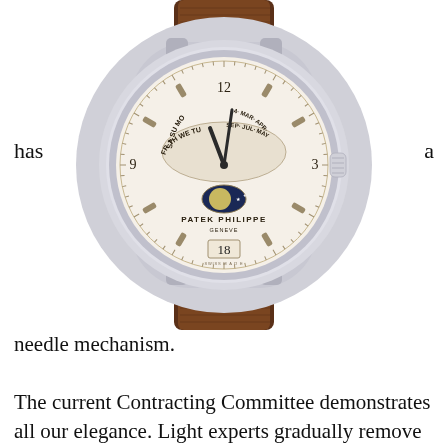[Figure (photo): A Patek Philippe luxury watch with cream dial showing perpetual calendar complications including day, month, moon phase, and date. The watch has a stainless steel case and brown leather strap.]
has a needle mechanism.
The current Contracting Committee demonstrates all our elegance. Light experts gradually remove all sports gradually change the maximum and minimum attractive part. The minimum is less than the minimum